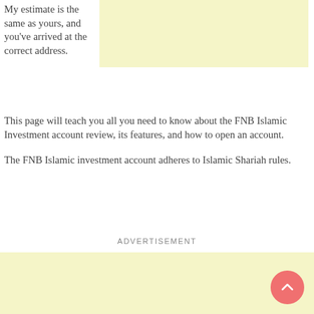My estimate is the same as yours, and you've arrived at the correct address.
[Figure (other): Light yellow advertisement placeholder box at top right]
This page will teach you all you need to know about the FNB Islamic Investment account review, its features, and how to open an account.
The FNB Islamic investment account adheres to Islamic Shariah rules.
ADVERTISEMENT
[Figure (other): Light yellow advertisement placeholder box at bottom]
[Figure (other): Pink circular scroll-to-top button with upward chevron]